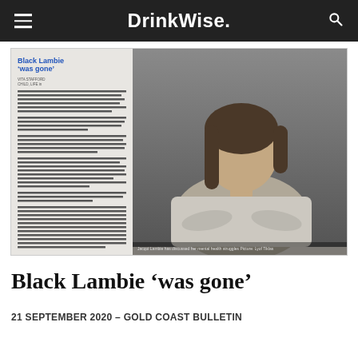DrinkWise.
[Figure (photo): Newspaper clipping showing article titled 'Black Lambie was gone' with a photograph of a woman with arms crossed, wearing a patterned blazer, against a dark background. The article text column appears on the left side of the clipping.]
Black Lambie ‘was gone’
21 SEPTEMBER 2020 – GOLD COAST BULLETIN